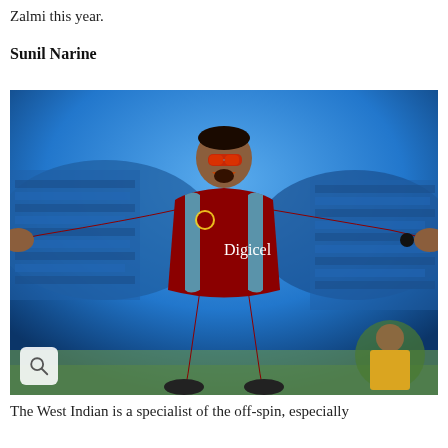Zalmi this year.
Sunil Narine
[Figure (photo): Sunil Narine, West Indian cricketer in a red Digicel-sponsored West Indies jersey, arms outstretched celebrating with mouth open, wearing red sunglasses, standing on a cricket field with stadium crowd in background]
The West Indian is a specialist of the off-spin, especially